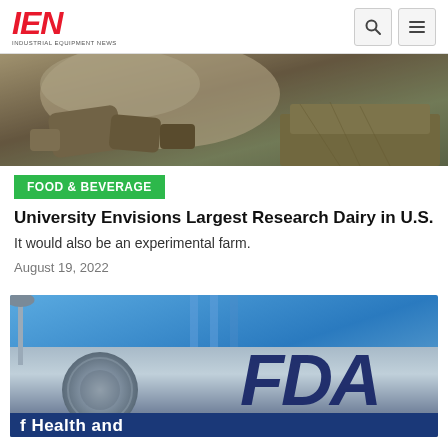IEN — Industrial Equipment News
[Figure (photo): Industrial/agricultural scene with rocks and dust/debris]
FOOD & BEVERAGE
University Envisions Largest Research Dairy in U.S.
It would also be an experimental farm.
August 19, 2022
[Figure (photo): FDA (Food and Drug Administration) sign with U.S. Department of Health and Human Services seal, blue sky background]